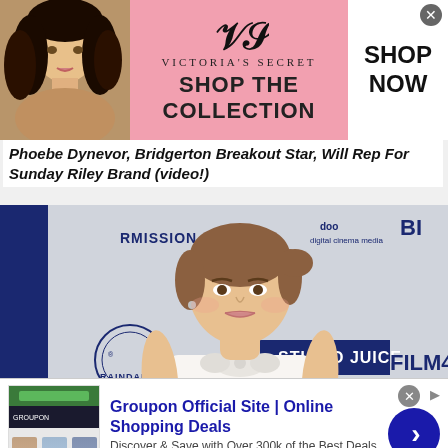[Figure (photo): Victoria's Secret advertisement banner with model photo, VS logo, 'SHOP THE COLLECTION' text, and 'SHOP NOW' button]
Phoebe Dynevor, Bridgerton Breakout Star, Will Rep For Sunday Riley Brand (video!)
[Figure (photo): Young woman with brown hair pulled back, wearing a white strapless bow dress, posing at an event with logos including Raindance, Studio Juice, Film4, and digital cinema media in the background]
[Figure (photo): Groupon Official Site advertisement: 'Discover & Save with Over 300k of the Best Deals', www.groupon.com, with Groupon logo image thumbnails and blue arrow button]